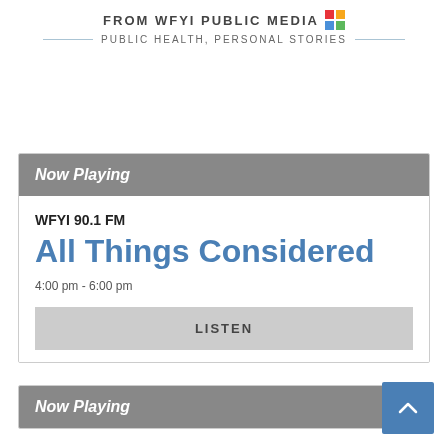FROM WFYI PUBLIC MEDIA — PUBLIC HEALTH, PERSONAL STORIES
Now Playing
WFYI 90.1 FM
All Things Considered
4:00 pm - 6:00 pm
LISTEN
Now Playing